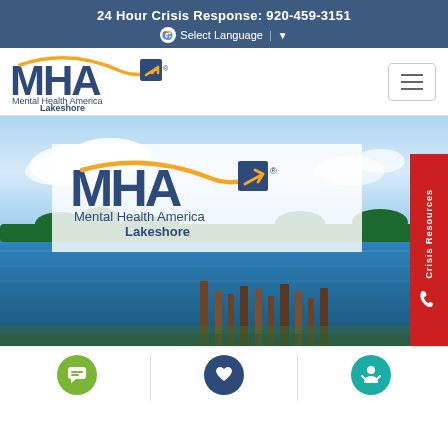24 Hour Crisis Response: 920-459-3151
Select Language ▼
[Figure (logo): Mental Health America Lakeshore logo with orange swoosh arrow and navy MHA text in navigation bar]
[Figure (screenshot): Hero banner with lakeside scene (blue water, wooden dock posts, tree line, cloudy sky) with semi-transparent white overlay containing Mental Health America Lakeshore logo and a red Crisis Resources tab on the right side]
[Figure (infographic): Bottom icon strip showing three circular icons: green chat/message icon, navy heart/love icon, teal person/community icon, separated by vertical dividers]